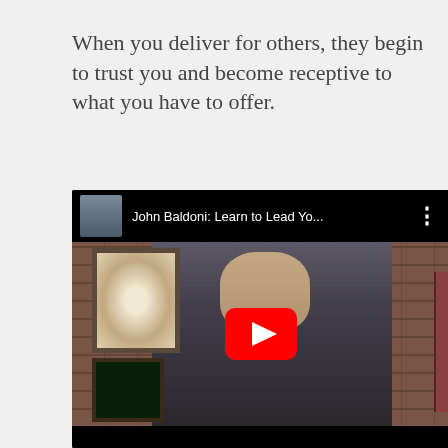When you deliver for others, they begin to trust you and become receptive to what you have to offer.
[Figure (screenshot): YouTube video thumbnail showing John Baldoni: Learn to Lead Yo... with a man in a dark suit standing in front of a brick wall with framed artwork. A red YouTube play button is overlaid in the center.]